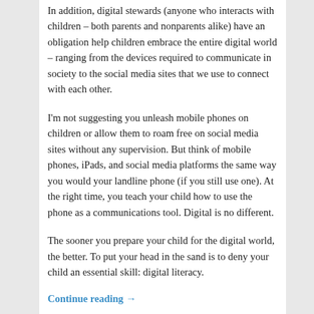In addition, digital stewards (anyone who interacts with children – both parents and nonparents alike) have an obligation help children embrace the entire digital world – ranging from the devices required to communicate in society to the social media sites that we use to connect with each other.
I'm not suggesting you unleash mobile phones on children or allow them to roam free on social media sites without any supervision. But think of mobile phones, iPads, and social media platforms the same way you would your landline phone (if you still use one). At the right time, you teach your child how to use the phone as a communications tool. Digital is no different.
The sooner you prepare your child for the digital world, the better. To put your head in the sand is to deny your child an essential skill: digital literacy.
Continue reading →
Posted in Digital, Marketing | Tagged Digital, Facebook,